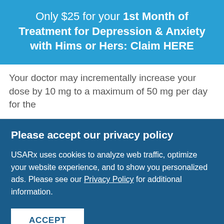[Figure (infographic): Blue advertisement banner reading: Only $25 for your 1st Month of Treatment for Depression & Anxiety with Hims or Hers: Claim HERE]
Your doctor may incrementally increase your dose by 10 mg to a maximum of 50 mg per day for the
Please accept our privacy policy
USARx uses cookies to analyze web traffic, optimize your website experience, and to show you personalized ads. Please see our Privacy Policy for additional information.
ACCEPT
Adults using paroxetine for panic disorder
[Figure (infographic): Bottom advertisement banner with cat image and text BEST FRIENDS FOREVER on teal background]